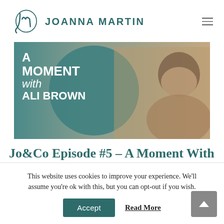JOANNA MARTIN
[Figure (photo): A Moment with Ali Brown – thumbnail image of a woman with short dark hair wearing a taupe top and gold necklace, with teal circle graphic and white bold text overlay reading 'A MOMENT with ALI BROWN']
Jo&Co Episode #5 – A Moment With Ali Brown
This website uses cookies to improve your experience. We'll assume you're ok with this, but you can opt-out if you wish.
Accept
Read More